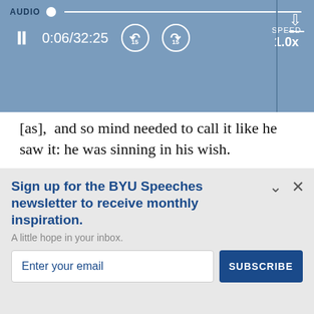[Figure (screenshot): Audio player bar with blue background showing pause button, time 0:06/32:25, skip-back 15, skip-forward 15 buttons, speed 1.0x, and download icon]
[as], and so mind needed to call it like he saw it: he was sinning in his wish.
Can't we just hear echoes of President Ezra Taft Benson's classic discourse on pride, w is always worthy of a reread? President
Sign up for the BYU Speeches newsletter to receive monthly inspiration.
A little hope in your inbox.
Enter your email
SUBSCRIBE